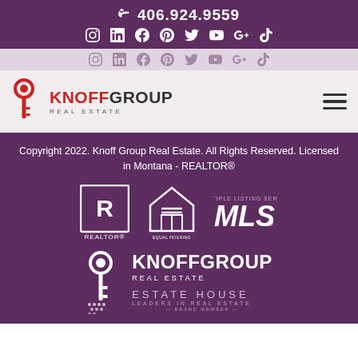406.924.9559
[Figure (logo): Social media icons row: Instagram, LinkedIn, Facebook, Pinterest, Twitter, YouTube, Google+, TikTok]
[Figure (logo): Faded/ghost social media icons row (decorative repeat)]
[Figure (logo): Knoff Group Real Estate logo with red key icon and hamburger menu]
Copyright 2022. Knoff Group Real Estate. All Rights Reserved. Licensed in Montana - REALTOR®
[Figure (logo): REALTOR, Equal Housing Opportunity, and MLS badges]
[Figure (logo): Knoff Group Real Estate bottom logo with white key icon, Estate House - Leaders in Real Estate - Brand Member]